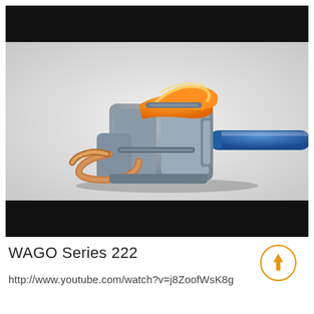[Figure (photo): Video thumbnail showing a WAGO Series 222 wire connector in cross-section. The connector is gray plastic with an orange lever/actuator on top. A copper wire (stripped, showing the bare metal folded inside) is inserted from the left, and a blue insulated wire enters from the right. The image has black letterbox bars at top and bottom, indicating it is a video screenshot.]
WAGO Series 222
http://www.youtube.com/watch?v=j8ZoofWsK8g